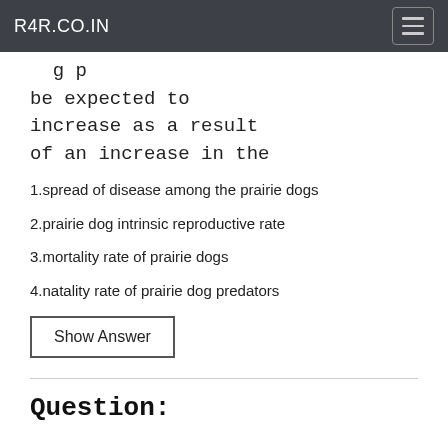R4R.CO.IN
g p
be expected to
increase as a result
of an increase in the
1.spread of disease among the prairie dogs
2.prairie dog intrinsic reproductive rate
3.mortality rate of prairie dogs
4.natality rate of prairie dog predators
Show Answer
Question: